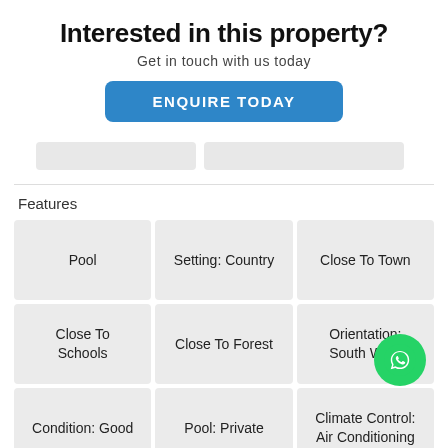Interested in this property?
Get in touch with us today
ENQUIRE TODAY
Features
| Pool | Setting: Country | Close To Town |
| Close To Schools | Close To Forest | Orientation: South West |
| Condition: Good | Pool: Private | Climate Control: Air Conditioning |